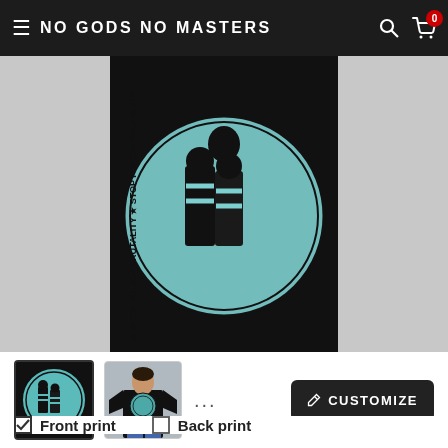NO GODS NO MASTERS
[Figure (photo): Close-up of a black t-shirt with a circular design showing people and text 'STOP POLICE BRUTALITY' in blue and black]
[Figure (photo): Small thumbnail of the circular Stop Police Brutality design on black background]
[Figure (photo): Small thumbnail of a person wearing the black t-shirt with the circular design]
CUSTOMIZE
Front print
Back print